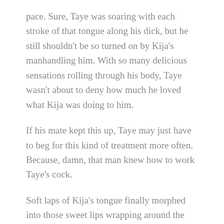pace. Sure, Taye was soaring with each stroke of that tongue along his dick, but he still shouldn't be so turned on by Kija's manhandling him. With so many delicious sensations rolling through his body, Taye wasn't about to deny how much he loved what Kija was doing to him.
If his mate kept this up, Taye may just have to beg for this kind of treatment more often. Because, damn, that man knew how to work Taye's cock.
Soft laps of Kija's tongue finally morphed into those sweet lips wrapping around the tip. Taye tried to thrust deeper into that hot cavern but Kija kept a firm hold of his hips, denying him any control.
Intense suction on the head of his prick had Taye's